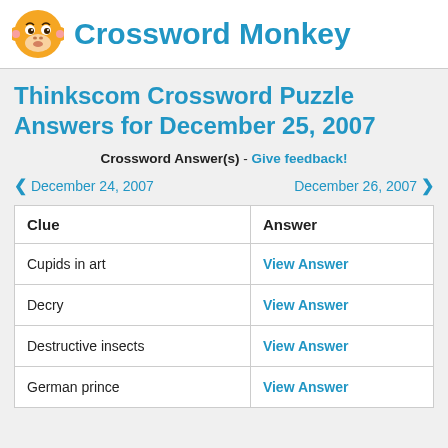Crossword Monkey
Thinkscom Crossword Puzzle Answers for December 25, 2007
Crossword Answer(s) - Give feedback!
< December 24, 2007    December 26, 2007 >
| Clue | Answer |
| --- | --- |
| Cupids in art | View Answer |
| Decry | View Answer |
| Destructive insects | View Answer |
| German prince | View Answer |